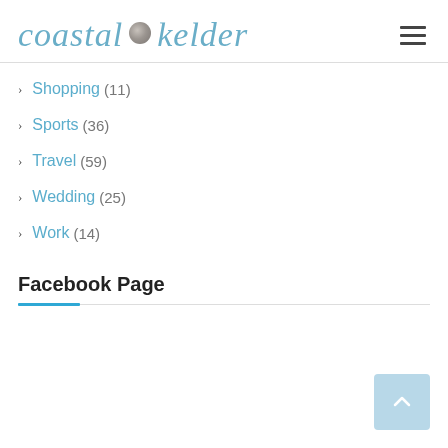coastal kelder
Shopping (11)
Sports (36)
Travel (59)
Wedding (25)
Work (14)
Facebook Page